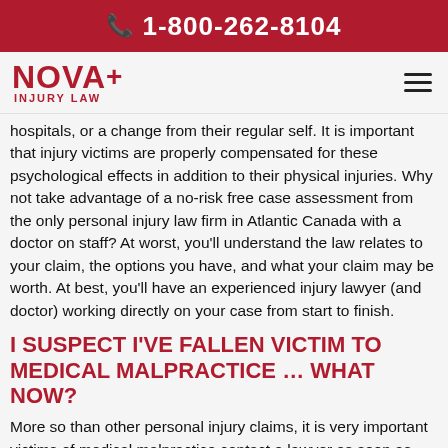☎ 1-800-262-8104
[Figure (logo): NOVA+ Injury Law logo with red text and hamburger menu icon]
hospitals, or a change from their regular self. It is important that injury victims are properly compensated for these psychological effects in addition to their physical injuries. Why not take advantage of a no-risk free case assessment from the only personal injury law firm in Atlantic Canada with a doctor on staff? At worst, you'll understand the law relates to your claim, the options you have, and what your claim may be worth. At best, you'll have an experienced injury lawyer (and doctor) working directly on your case from start to finish.
I SUSPECT I'VE FALLEN VICTIM TO MEDICAL MALPRACTICE … WHAT NOW?
More so than other personal injury claims, it is very important victims of medical malpractice contact a lawyer as soon as possible. These claims can be some of the most challenging and complex claims to both bring and prove.